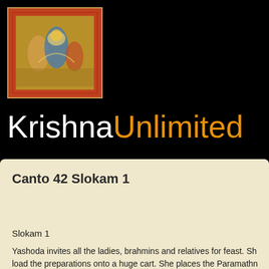[Figure (illustration): Traditional Indian miniature painting depicting Krishna-related scene with figures in colorful attire on decorative background with red border]
KrishnaUnlimited
Canto 42 Slokam 1
Slokam 1
Yashoda invites all the ladies, brahmins and relatives for feast.  She load the preparations onto a huge cart. She places the Paramathn